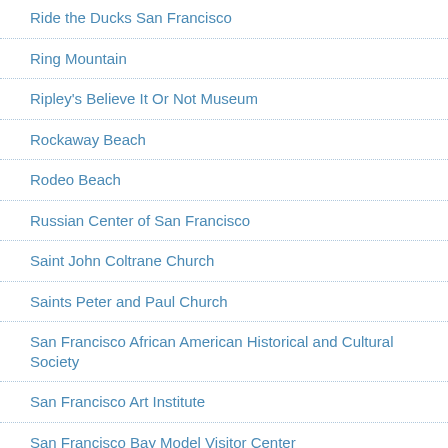Ride the Ducks San Francisco
Ring Mountain
Ripley's Believe It Or Not Museum
Rockaway Beach
Rodeo Beach
Russian Center of San Francisco
Saint John Coltrane Church
Saints Peter and Paul Church
San Francisco African American Historical and Cultural Society
San Francisco Art Institute
San Francisco Bay Model Visitor Center
San Francisco Bay Sailing